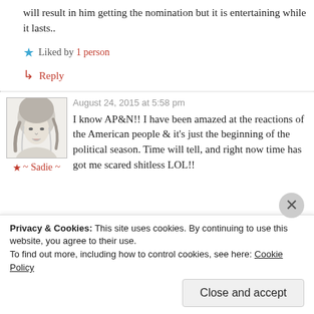will result in him getting the nomination but it is entertaining while it lasts..
Liked by 1 person
↳ Reply
August 24, 2015 at 5:58 pm
[Figure (illustration): Black and white sketch/illustration of a young woman with braided hair]
★ ~ Sadie ~
I know AP&N!! I have been amazed at the reactions of the American people & it's just the beginning of the political season. Time will tell, and right now time has got me scared shitless LOL!!
Privacy & Cookies: This site uses cookies. By continuing to use this website, you agree to their use. To find out more, including how to control cookies, see here: Cookie Policy
Close and accept